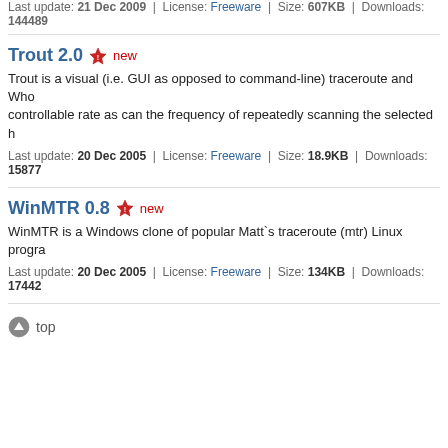Last update: 21 Dec 2009 | License: Freeware | Size: 607KB | Downloads: 144489
Trout 2.0 new
Trout is a visual (i.e. GUI as opposed to command-line) traceroute and Who... controllable rate as can the frequency of repeatedly scanning the selected h...
Last update: 20 Dec 2005 | License: Freeware | Size: 18.9KB | Downloads: 15877
WinMTR 0.8 new
WinMTR is a Windows clone of popular Matt`s traceroute (mtr) Linux progra...
Last update: 20 Dec 2005 | License: Freeware | Size: 134KB | Downloads: 17442
top